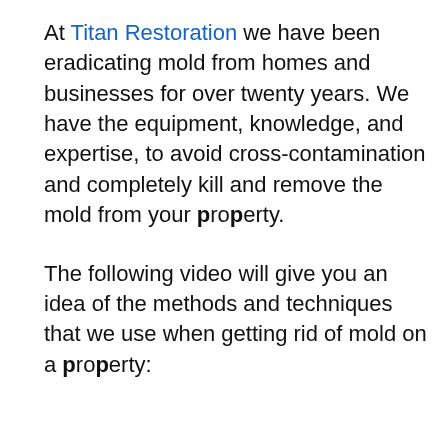At Titan Restoration we have been eradicating mold from homes and businesses for over twenty years. We have the equipment, knowledge, and expertise, to avoid cross-contamination and completely kill and remove the mold from your property.
The following video will give you an idea of the methods and techniques that we use when getting rid of mold on a property: